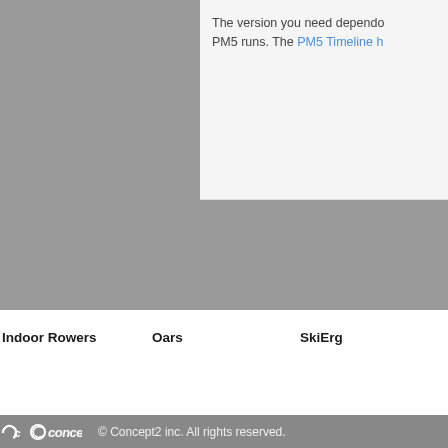The version you need dependo PM5 runs. The PM5 Timeline h
Indoor Rowers
RowErg
Dynamic
Monitors
What's Best For Me?
Accessories
Training
Records
Oars
Oar Options
Blades
Custom Colors
Related Products
Support
Testing
Ordering
SkiErg
SkiErg
Floor Stand
Monitors
Training
Motivation
SkiErg World Sprints
Testimonials
Technique
© Concept2 inc. All rights reserved.